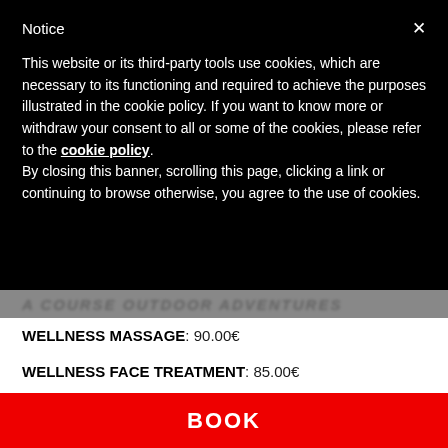Notice
This website or its third-party tools use cookies, which are necessary to its functioning and required to achieve the purposes illustrated in the cookie policy. If you want to know more or withdraw your consent to all or some of the cookies, please refer to the cookie policy.
By closing this banner, scrolling this page, clicking a link or continuing to browse otherwise, you agree to the use of cookies.
WELLNESS MASSAGE: 90.00€
WELLNESS FACE TREATMENT: 85.00€
WELLNESS DAY AFTER TREATMENT: 80.00€
WELLNESS TOTAL SCRUB: 58.00€
BOOK